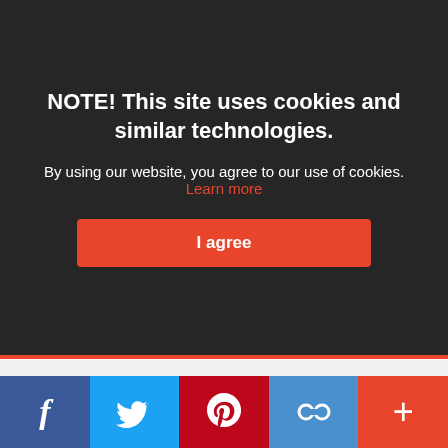NOTE! This site uses cookies and similar technologies.
By using our website, you agree to our use of cookies. Learn more
I agree
The main platform for communication on the campaign is http://badrubberducker.com/, but BAD RUBBER DUCKER will also appear in CROPP’s social media such as Facebook, YouTube and Instagram, where a competition will be organised for fans of the brand.
Published in Fashion
Tagged under #fashion #Cropp #wear #style #Bad Rubber Ducker
[Figure (screenshot): Social media share bar with Facebook, Twitter, Pinterest, link, and more (+) buttons]